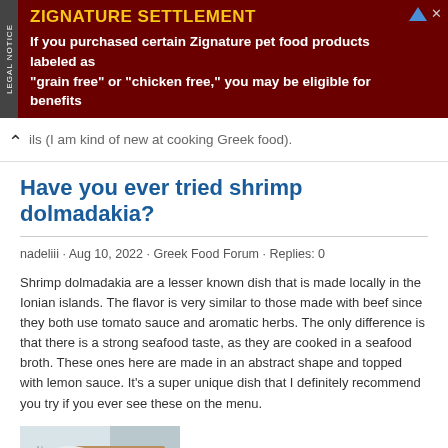[Figure (infographic): Legal notice advertisement banner: ZIGNATURE SETTLEMENT - If you purchased certain Zignature pet food products labeled as "grain free" or "chicken free," you may be eligible for benefits]
ils (I am kind of new at cooking Greek food).
Have you ever tried shrimp dolmadakia?
nadeliii · Aug 10, 2022 · Greek Food Forum · Replies: 0
Shrimp dolmadakia are a lesser known dish that is made locally in the Ionian islands. The flavor is very similar to those made with beef since they both use tomato sauce and aromatic herbs. The only difference is that there is a strong seafood taste, as they are cooked in a seafood broth. These ones here are made in an abstract shape and topped with lemon sauce. It's a super unique dish that I definitely recommend you try if you ever see these on the menu.
[Figure (photo): A photo of shrimp dolmadakia dish on a plate with table setting]